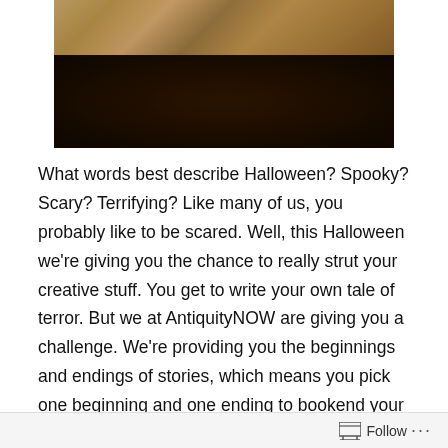[Figure (photo): Dark photograph of an ancient artifact or book on a wooden surface, viewed from above at an angle, with warm amber/golden tones at top fading to dark brown-black]
What words best describe Halloween? Spooky? Scary? Terrifying? Like many of us, you probably like to be scared. Well, this Halloween we're giving you the chance to really strut your creative stuff. You get to write your own tale of terror. But we at AntiquityNOW are giving you a challenge. We're providing you the beginnings and endings of stories, which means you pick one beginning and one ending to bookend your story. And—drum roll—you must include an element of ancient history in your story. Just look around at today's books and movies. How many have to do with time travel to an ancient place, an artifact that has a mysterious past or a story that has it...